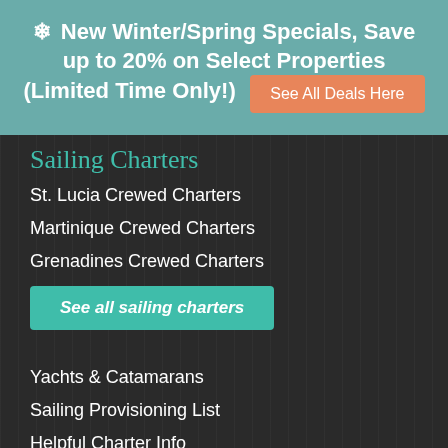❄ New Winter/Spring Specials, Save up to 20% on Select Properties (Limited Time Only!) See All Deals Here
Sailing Charters
St. Lucia Crewed Charters
Martinique Crewed Charters
Grenadines Crewed Charters
See all sailing charters
Yachts & Catamarans
Sailing Provisioning List
Helpful Charter Info
Popular Activities